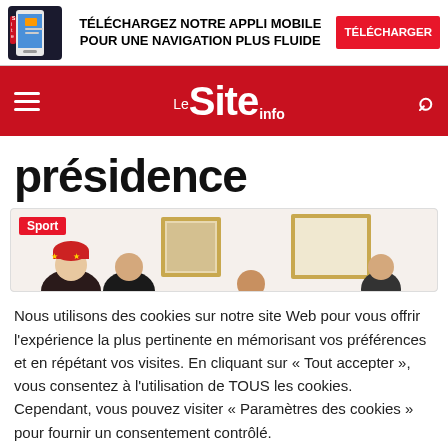[Figure (infographic): App download advertisement banner with phone image, bold French text 'TÉLÉCHARGEZ NOTRE APPLI MOBILE POUR UNE NAVIGATION PLUS FLUIDE' and red 'TÉLÉCHARGER' button]
[Figure (logo): Le Site Info navigation bar logo in red background with hamburger menu and search icon]
présidence
[Figure (photo): Photo of people at an event with framed pictures on the wall, tagged with red 'Sport' label]
Nous utilisons des cookies sur notre site Web pour vous offrir l'expérience la plus pertinente en mémorisant vos préférences et en répétant vos visites. En cliquant sur « Tout accepter », vous consentez à l'utilisation de TOUS les cookies. Cependant, vous pouvez visiter « Paramètres des cookies » pour fournir un consentement contrôlé.